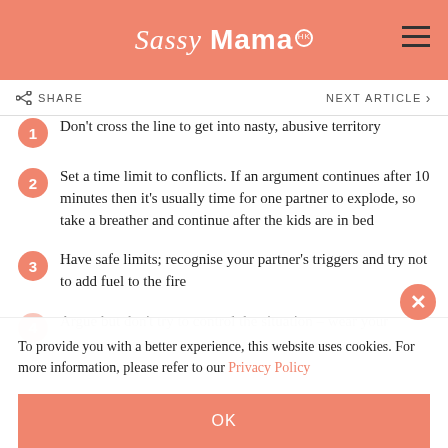Sassy Mama HK
Don't cross the line to get into nasty, abusive territory
Set a time limit to conflicts. If an argument continues after 10 minutes then it's usually time for one partner to explode, so take a breather and continue after the kids are in bed
Have safe limits; recognise your partner's triggers and try not to add fuel to the fire
Argue but don't try to control the situation – wear your
To provide you with a better experience, this website uses cookies. For more information, please refer to our Privacy Policy
OK